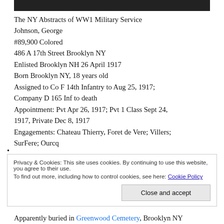[Figure (photo): Partial dark image strip at the top of the page]
The NY Abstracts of WW1 Military Service
Johnson, George
#89,900 Colored
486 A 17th Street Brooklyn NY
Enlisted Brooklyn NH 26 April 1917
Born Brooklyn NY, 18 years old
Assigned to Co F 14th Infantry to Aug 25, 1917; Company D 165 Inf to death
Appointment: Pvt Apr 26, 1917; Pvt 1 Class Sept 24, 1917, Private Dec 8, 1917
Engagements: Chateau Thierry, Foret de Vere; Villers; SurFere; Ourcq
Privacy & Cookies: This site uses cookies. By continuing to use this website, you agree to their use.
To find out more, including how to control cookies, see here: Cookie Policy
Close and accept
Apparently buried in Greenwood Cemetery, Brooklyn NY